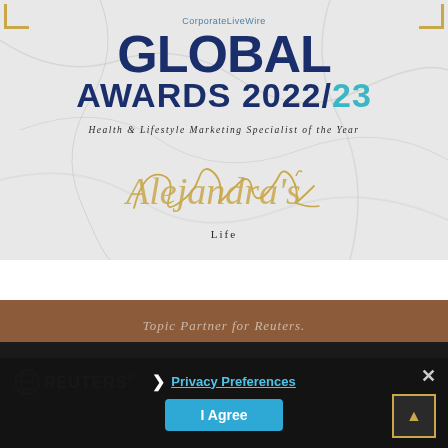[Figure (illustration): CorporateLiveWire Global Awards 2022/23 certificate for Health & Lifestyle Marketing Specialist of the Year, awarded to Alejandra's Life, on marble background with gold corner brackets]
Topic Partner for Reuters.
[Figure (logo): Reuters logo in white on dark background]
[Figure (screenshot): Privacy Preferences popup overlay with close button (X), chevron, Privacy Preferences link, and I Agree button]